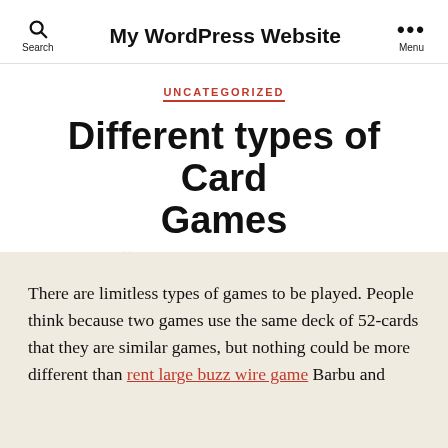My WordPress Website
UNCATEGORIZED
Different types of Card Games
By admin  June 11, 2022  No Comments
There are limitless types of games to be played. People think because two games use the same deck of 52-cards that they are similar games, but nothing could be more different than rent large buzz wire game Barbu and